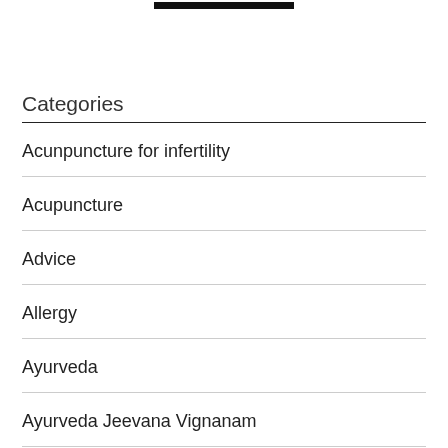Categories
Acunpuncture for infertility
Acupuncture
Advice
Allergy
Ayurveda
Ayurveda Jeevana Vignanam
Beauty